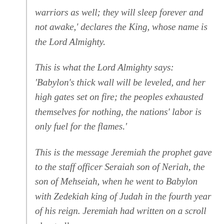warriors as well; they will sleep forever and not awake,' declares the King, whose name is the Lord Almighty.
This is what the Lord Almighty says: 'Babylon's thick wall will be leveled, and her high gates set on fire; the peoples exhausted themselves for nothing, the nations' labor is only fuel for the flames.'
This is the message Jeremiah the prophet gave to the staff officer Seraiah son of Neriah, the son of Mehseiah, when he went to Babylon with Zedekiah king of Judah in the fourth year of his reign. Jeremiah had written on a scroll about all